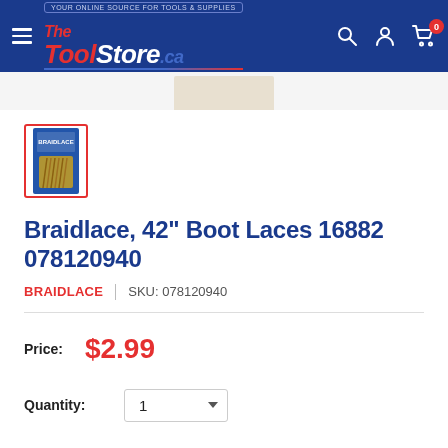[Figure (logo): The ToolStore.ca logo with tagline 'Your online source for tools & supplies' on dark blue header with search, account, and cart icons]
[Figure (photo): Product thumbnail image of Braidlace 42-inch Boot Laces package, selected state with red border]
Braidlace, 42" Boot Laces 16882 078120940
BRAIDLACE | SKU: 078120940
Price: $2.99
Quantity: 1